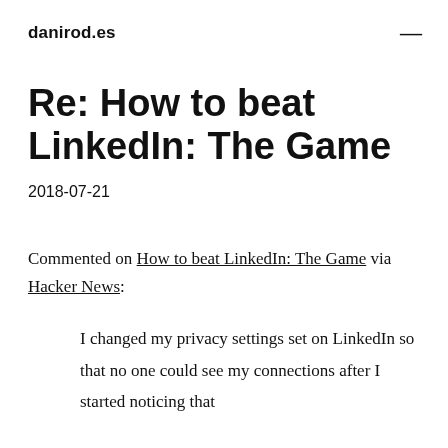danirod.es
Re: How to beat LinkedIn: The Game
2018-07-21
Commented on How to beat LinkedIn: The Game via Hacker News:
I changed my privacy settings set on LinkedIn so that no one could see my connections after I started noticing that